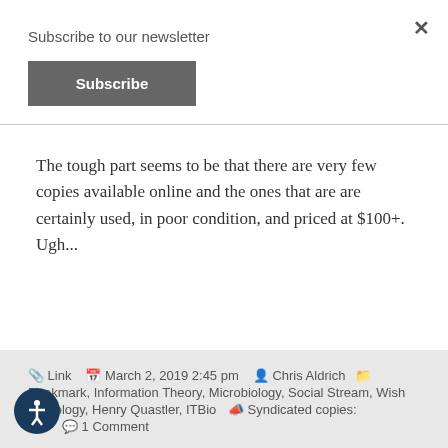Subscribe to our newsletter
Subscribe
The tough part seems to be that there are very few copies available online and the ones that are are certainly used, in poor condition, and priced at $100+. Ugh...
Link  March 2, 2019 2:45 pm  Chris Aldrich  Bookmark, Information Theory, Microbiology, Social Stream, Wish  biology, Henry Quastler, ITBio  Syndicated copies:  1 Comment